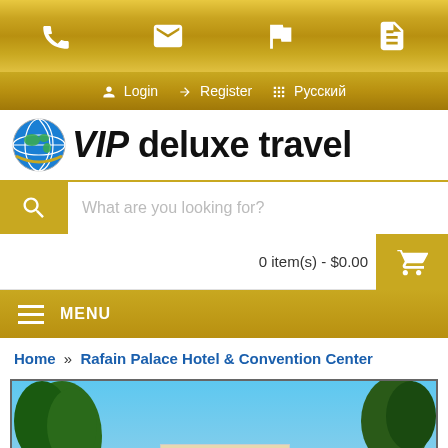VIP deluxe travel website header with phone, email, flag, and document icons
Login  →  Register  ⊞  Русский
VIP deluxe travel
What are you looking for?
0 item(s) - $0.00
MENU
Home » Rafain Palace Hotel & Convention Center
[Figure (photo): Exterior photo of Rafain Palace Hotel & Convention Center showing trees against a blue sky]